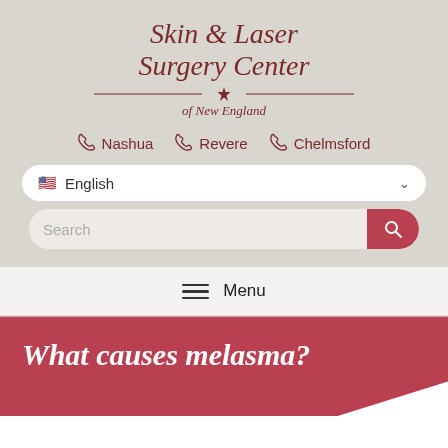[Figure (logo): Skin & Laser Surgery Center of New England logo with stylized S letters and star/asterisk divider in dark red/maroon color]
Nashua   Revere   Chelmsford
English
Search
Menu
What causes melasma?